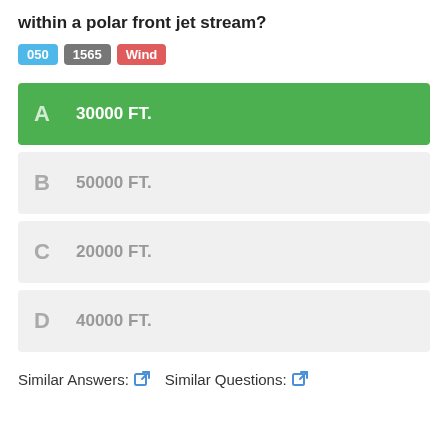What is the average height of the jet core within a polar front jet stream?
050  1565  Wind
A  30000 FT.
B  50000 FT.
C  20000 FT.
D  40000 FT.
Similar Answers:  Similar Questions: